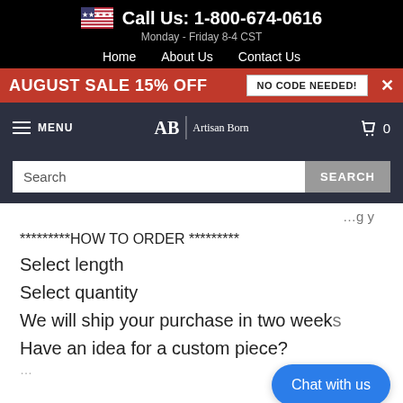Call Us: 1-800-674-0616
Monday - Friday 8-4 CST
Home  About Us  Contact Us
AUGUST SALE 15% OFF  NO CODE NEEDED!
MENU  AB | Artisan Born  0
Search
*********HOW TO ORDER *********
Select length
Select quantity
We will ship your purchase in two weeks
Have an idea for a custom piece?
Chat with us